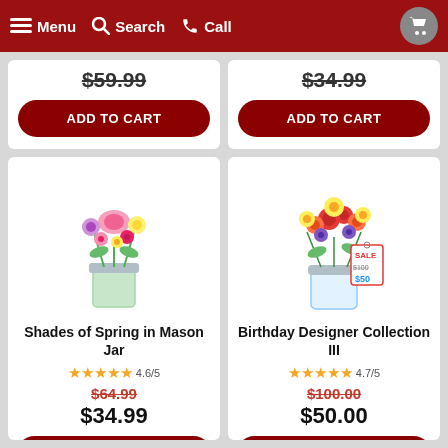Menu  Search  Call
[Figure (screenshot): Top partial product card left - price $59.99 with ADD TO CART button]
[Figure (screenshot): Top partial product card right - price $34.99 with ADD TO CART button]
[Figure (photo): Shades of Spring in Mason Jar - bouquet of pink lilies, purple and yellow flowers in a mason jar]
Shades of Spring in Mason Jar
4.6/5
$64.99
$34.99
ADD TO CART
[Figure (photo): Birthday Designer Collection III - bouquet of red roses, orange flowers, yellow daisies and purple flowers in a glass vase with a sale tag showing $100 crossed out and $50]
Birthday Designer Collection III
4.7/5
$100.00
$50.00
ADD TO CART